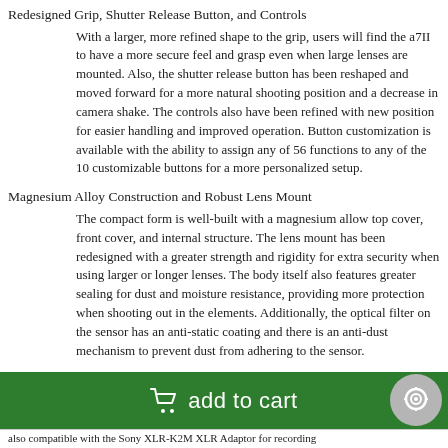Redesigned Grip, Shutter Release Button, and Controls
With a larger, more refined shape to the grip, users will find the a7II to have a more secure feel and grasp even when large lenses are mounted. Also, the shutter release button has been reshaped and moved forward for a more natural shooting position and a decrease in camera shake. The controls also have been refined with new position for easier handling and improved operation. Button customization is available with the ability to assign any of 56 functions to any of the 10 customizable buttons for a more personalized setup.
Magnesium Alloy Construction and Robust Lens Mount
The compact form is well-built with a magnesium allow top cover, front cover, and internal structure. The lens mount has been redesigned with a greater strength and rigidity for extra security when using larger or longer lenses. The body itself also features greater sealing for dust and moisture resistance, providing more protection when shooting out in the elements. Additionally, the optical filter on the sensor has an anti-static coating and there is an anti-dust mechanism to prevent dust from adhering to the sensor.
also compatible with the Sony XLR-K2M XLR Adaptor for recording